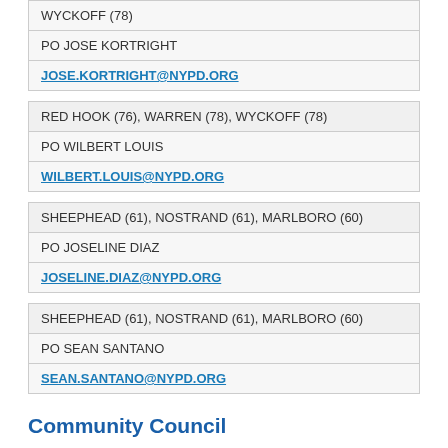| WYCKOFF (78) |
| PO JOSE KORTRIGHT |
| JOSE.KORTRIGHT@NYPD.ORG |
| RED HOOK (76), WARREN (78), WYCKOFF (78) |
| PO WILBERT LOUIS |
| WILBERT.LOUIS@NYPD.ORG |
| SHEEPHEAD (61), NOSTRAND (61), MARLBORO (60) |
| PO JOSELINE DIAZ |
| JOSELINE.DIAZ@NYPD.ORG |
| SHEEPHEAD (61), NOSTRAND (61), MARLBORO (60) |
| PO SEAN SANTANO |
| SEAN.SANTANO@NYPD.ORG |
Community Council